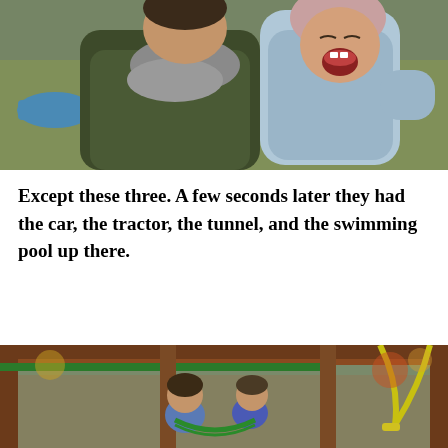[Figure (photo): An adult holding a laughing baby outdoors. The baby is wearing a grey hoodie and appears very happy with mouth wide open. The adult wears a dark olive/brown jacket with a grey scarf. Autumn leaves visible in the background.]
Except these three. A few seconds later they had the car, the tractor, the tunnel, and the swimming pool up there.
[Figure (photo): Children playing on a wooden outdoor play structure/playground set. A yellow swing is visible on the right side. The structure has wooden beams and green accents. Autumn trees in the background.]